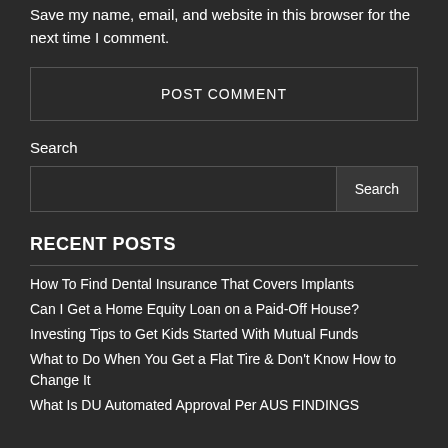Save my name, email, and website in this browser for the next time I comment.
POST COMMENT
Search
Search
RECENT POSTS
How To Find Dental Insurance That Covers Implants
Can I Get a Home Equity Loan on a Paid-Off House?
Investing Tips to Get Kids Started With Mutual Funds
What to Do When You Get a Flat Tire & Don't Know How to Change It
What Is DU Automated Approval Per AUS FINDINGS